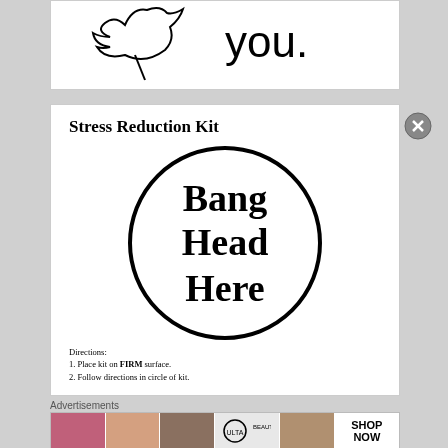[Figure (illustration): Partial image showing decorative text or graphic with the word 'you.' visible, top portion cropped]
[Figure (illustration): Stress Reduction Kit joke card: large circle with 'Bang Head Here' in bold text, with directions: 1. Place kit on FIRM surface. 2. Follow directions in circle of kit.]
Advertisements
[Figure (photo): Advertisement banner strip for ULTA beauty with cosmetic imagery and SHOP NOW button]